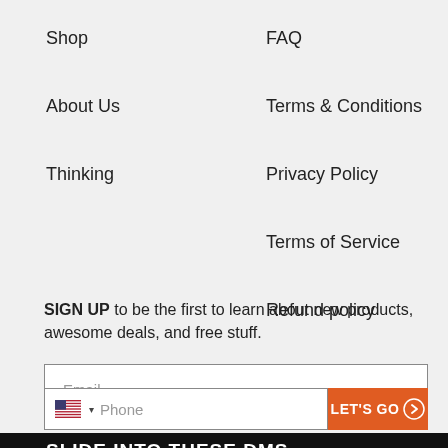Shop
FAQ
About Us
Terms & Conditions
Thinking
Privacy Policy
Terms of Service
Refund policy
SIGN UP to be the first to learn about new products, awesome deals, and free stuff.
Email
Phone
LET'S GO
SLIDE INTO THESE DMS